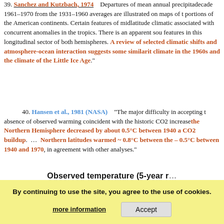39. Sanchez and Kutzbach, 1974 — Departures of mean annual precipitation for the decade 1961–1970 from the 1931–1960 averages are illustrated on maps of the portions of the American continents. Certain features of midlatitude climatic ... associated with concurrent anomalies in the tropics. There is an apparent sou... features in this longitudinal sector of both hemispheres. A review of selected climatic shifts and atmosphere-ocean interaction suggests some similarities between climate in the 1960s and the climate of the Little Ice Age.
40. Hansen et al., 1981 (NASA) — "The major difficulty in accepting the ... absence of observed warming coincident with the historic CO2 increase... the Northern Hemisphere decreased by about 0.5°C between 1940 and ... CO2 buildup. … Northern latitudes warmed ~ 0.8°C between the ... – 0.5°C between 1940 and 1970, in agreement with other analyses."
[Figure (continuous-plot): Observed temperature (5-year running mean) chart showing Northern Hemisphere and Southern Hemisphere temperature lines, partially obscured by cookie consent banner. Y-axis shows values 0.2 and 0.4 visible.]
Cookie consent banner: By continuing to use the site, you agree to the use of cookies. [more information] [Accept]